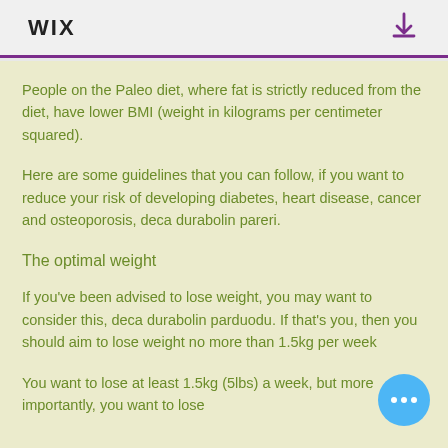WIX
People on the Paleo diet, where fat is strictly reduced from the diet, have lower BMI (weight in kilograms per centimeter squared).
Here are some guidelines that you can follow, if you want to reduce your risk of developing diabetes, heart disease, cancer and osteoporosis, deca durabolin pareri.
The optimal weight
If you've been advised to lose weight, you may want to consider this, deca durabolin parduodu. If that's you, then you should aim to lose weight no more than 1.5kg per week
You want to lose at least 1.5kg (5lbs) a week, but more importantly, you want to lose